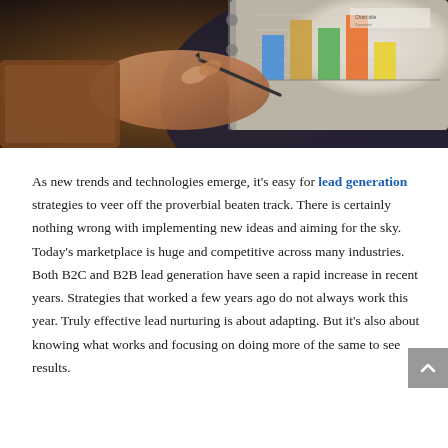[Figure (photo): A hand holding a pen, writing or pointing at a bar chart on paper in a binder/clipboard. The background is dark and warm-toned. The chart shows colored bars (blue, orange/brown, green, orange, yellow) in the upper portion.]
As new trends and technologies emerge, it's easy for lead generation strategies to veer off the proverbial beaten track. There is certainly nothing wrong with implementing new ideas and aiming for the sky. Today's marketplace is huge and competitive across many industries. Both B2C and B2B lead generation have seen a rapid increase in recent years. Strategies that worked a few years ago do not always work this year. Truly effective lead nurturing is about adapting. But it's also about knowing what works and focusing on doing more of the same to see results.